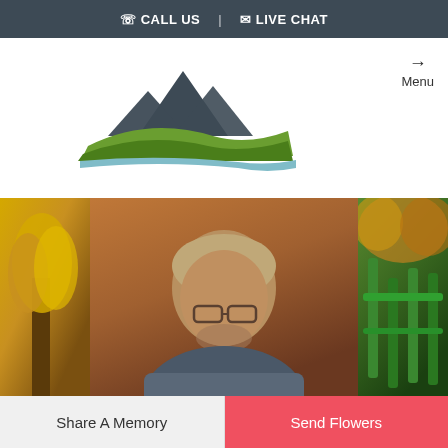CALL US | LIVE CHAT
[Figure (logo): Northern Colorado Crematory logo with mountain peaks in dark slate and green rolling hills with a light blue wave, with text NORTHERN COLORADO CREMATORY below]
Menu
[Figure (photo): Photo strip showing three images: left - autumn golden-leafed tree, center - elderly man with glasses and gray hair, right - green bridge railing with autumn foliage]
Share A Memory
Send Flowers